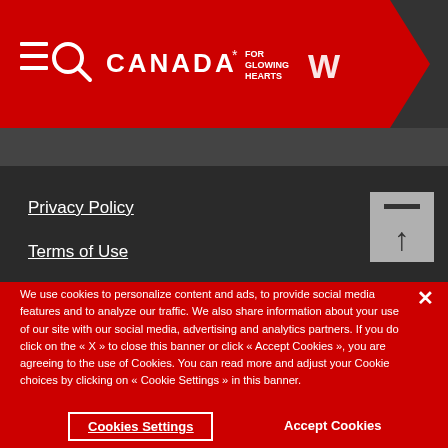[Figure (logo): Canada government website header with red tab containing hamburger menu, search icon, Canada wordmark with maple leaf and 'FOR GLOWING HEARTS' tagline, and partial 'W' letter]
Privacy Policy
Terms of Use
[Figure (other): Back to top button - grey square with horizontal bar and upward arrow]
We use cookies to personalize content and ads, to provide social media features and to analyze our traffic. We also share information about your use of our site with our social media, advertising and analytics partners. If you do click on the « X » to close this banner or click « Accept Cookies », you are agreeing to the use of Cookies. You can read more and adjust your Cookie choices by clicking on « Cookie Settings » in this banner.
Cookies Settings
Accept Cookies